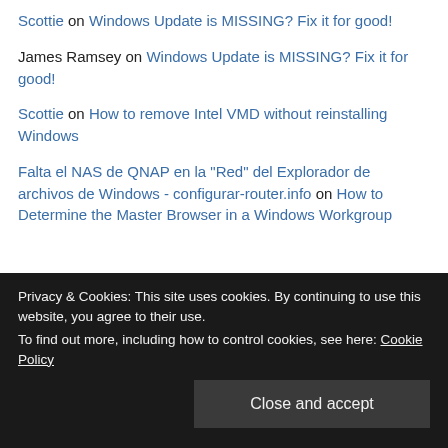Scottie on Windows Update is MISSING? Fix it for good!
James Ramsey on Windows Update is MISSING? Fix it for good!
Scottie on How to remove Intel VMD without reinstalling Windows
Falta el NAS de QNAP en la "Red" del Explorador de archivos de Windows - configurar-router.info on How to Determine the Master Browser in a Windows Workgroup
Archives
Privacy & Cookies: This site uses cookies. By continuing to use this website, you agree to their use.
To find out more, including how to control cookies, see here: Cookie Policy
Close and accept